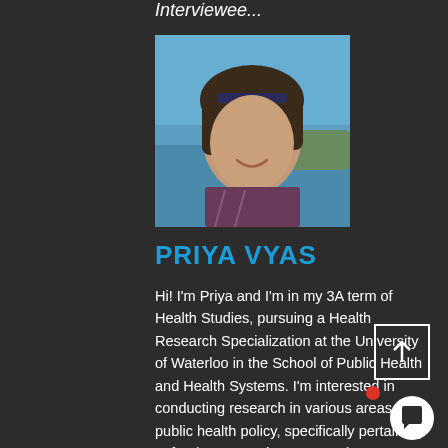Interviewee...
[Figure (photo): Portrait photo of Priya Vyas outdoors with blue sky and sea in background, sunglasses on head, smiling]
PRIYA VYAS
Hi! I'm Priya and I'm in my 3A term of Health Studies, pursuing a Health Research Specialization at the University of Waterloo in the School of Public Health and Health Systems. I'm interested in conducting research in various areas of public health policy, specifically pertaining to food consumption patterns in young people and mental health in children and youth. In my free time, I enjoy volunteering within my university community, reading, creative writing, and cooking new dishes. If there's anything